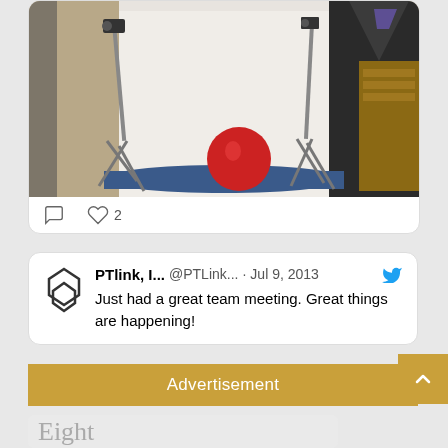[Figure (photo): Photo of a photography studio setup with a white backdrop, two camera tripods, and a red exercise ball on a blue yoga mat. The room also shows a bookshelf on the right.]
♡ 2
PTlink, I... @PTLink... · Jul 9, 2013
Just had a great team meeting. Great things are happening!
Advertisement
Eight